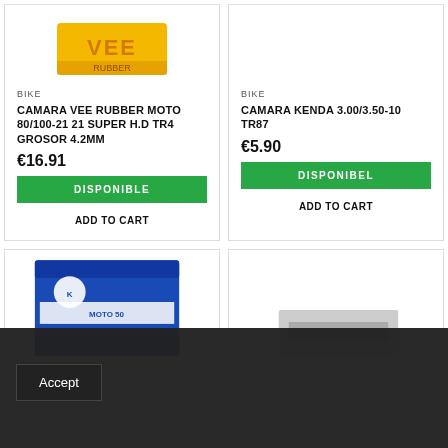[Figure (photo): Product image of Camara Vee Rubber Moto (partially visible at top)]
BIKE
CAMARA VEE RUBBER MOTO 80/100-21 21 SUPER H.D TR4 GROSOR 4.2MM
€16.91
DISPONIBLE
ADD TO CART
[Figure (photo): Product image area (empty/white) for Camara Kenda]
BIKE
CAMARA KENDA 3.00/3.50-10 TR87
€5.90
DISPONIBEL
ADD TO CART
[Figure (photo): Blue product box (inner tube/camara) partially visible in bottom-left card]
[Figure (photo): Partial product image in bottom-right card]
Accept